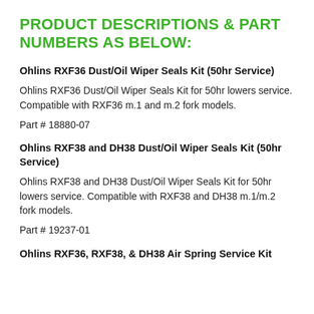PRODUCT DESCRIPTIONS & PART NUMBERS AS BELOW:
Ohlins RXF36 Dust/Oil Wiper Seals Kit (50hr Service)
Ohlins RXF36 Dust/Oil Wiper Seals Kit for 50hr lowers service. Compatible with RXF36 m.1 and m.2 fork models.
Part # 18880-07
Ohlins RXF38 and DH38 Dust/Oil Wiper Seals Kit (50hr Service)
Ohlins RXF38 and DH38 Dust/Oil Wiper Seals Kit for 50hr lowers service. Compatible with RXF38 and DH38 m.1/m.2 fork models.
Part # 19237-01
Ohlins RXF36, RXF38, & DH38 Air Spring Service Kit